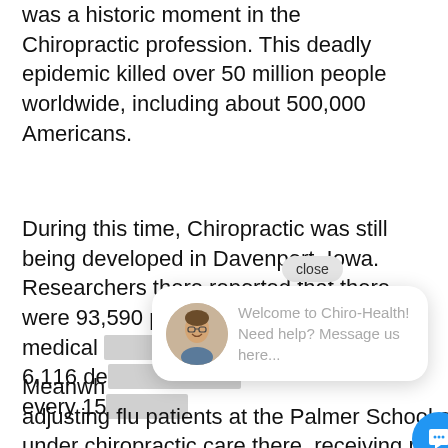was a historic moment in the Chiropractic profession. This deadly epidemic killed over 50 million people worldwide, including about 500,000 Americans.
During this time, Chiropractic was still being developed in Davenport, Iowa. Researchers there reported that there were 93,590 patients being treated by medical [obscured] 6,116 de[obscured] every 15[obscured]
Meanwh[obscured] adjusting flu patients at the Palmer School of Chiropractic. A total of 1,635 patients were under chiropractic care there, receiving regular adjustments
[Figure (screenshot): Chat widget overlay showing a 'close' button, a popup with an avatar photo of a smiling person with glasses and text 'Welcome to Chiro-Health! Need help? Message us here...', and a blue circular chat FAB button.]